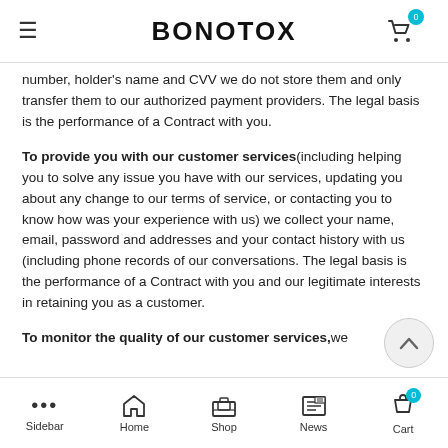BONOTOX
number, holder's name and CVV we do not store them and only transfer them to our authorized payment providers. The legal basis is the performance of a Contract with you.
To provide you with our customer services (including helping you to solve any issue you have with our services, updating you about any change to our terms of service, or contacting you to know how was your experience with us) we collect your name, email, password and addresses and your contact history with us (including phone records of our conversations. The legal basis is the performance of a Contract with you and our legitimate interests in retaining you as a customer.
To monitor the quality of our customer services, we
Sidebar  Home  Shop  News  Cart